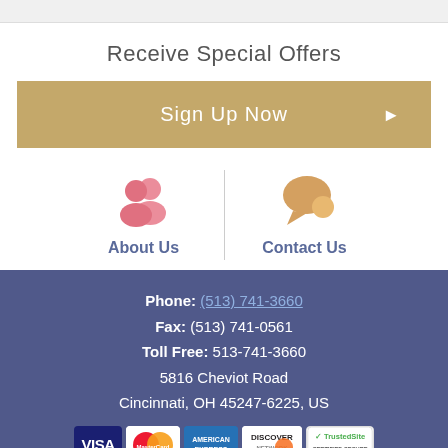Receive Special Offers
Sign Up Now ▶
[Figure (infographic): About Us icon (pink silhouette of two people) and Contact Us icon (orange speech bubble) separated by a vertical divider]
Phone: (513) 741-3660
Fax: (513) 741-0561
Toll Free: 513-741-3660
5816 Cheviot Road
Cincinnati, OH 45247-6225, US
[Figure (logo): Payment logos: Visa, MasterCard, American Express, Discover, TrustedSite Certified Secure]